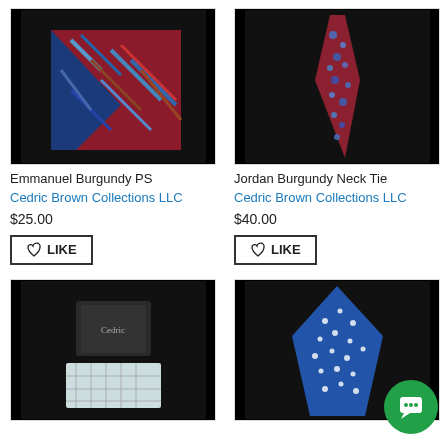[Figure (photo): Emmanuel Burgundy PS - folded pocket square with blue and red abstract pattern on black background]
Emmanuel Burgundy PS
Cedric Brown Collections LLC
$25.00
LIKE
[Figure (photo): Jordan Burgundy Neck Tie - red/burgundy necktie with blue floral pattern on black background]
Jordan Burgundy Neck Tie
Cedric Brown Collections LLC
$40.00
LIKE
[Figure (photo): Product in dark gift box with white pocket square below, on black background]
[Figure (photo): Blue pocket square with white dot/star pattern on black background]